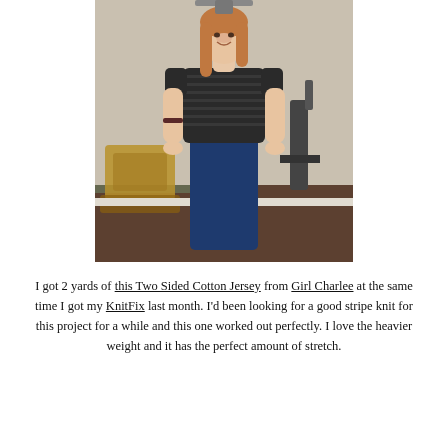[Figure (photo): A young woman with long reddish-brown hair, smiling, wearing a black and dark grey horizontal striped short-sleeve top and blue skinny jeans, standing indoors in what appears to be a dining/living area with wooden chairs and exercise equipment visible in the background.]
I got 2 yards of this Two Sided Cotton Jersey from Girl Charlee at the same time I got my KnitFix last month. I'd been looking for a good stripe knit for this project for a while and this one worked out perfectly. I love the heavier weight and it has the perfect amount of stretch.